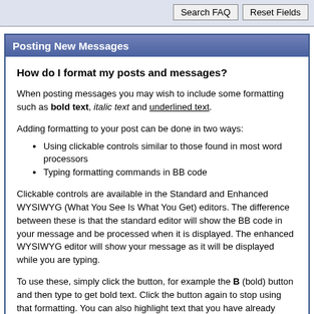Search FAQ | Reset Fields
Posting New Messages
How do I format my posts and messages?
When posting messages you may wish to include some formatting such as bold text, italic text and underlined text.
Adding formatting to your post can be done in two ways:
Using clickable controls similar to those found in most word processors
Typing formatting commands in BB code
Clickable controls are available in the Standard and Enhanced WYSIWYG (What You See Is What You Get) editors. The difference between these is that the standard editor will show the BB code in your message and be processed when it is displayed. The enhanced WYSIWYG editor will show your message as it will be displayed while you are typing.
To use these, simply click the button, for example the B (bold) button and then type to get bold text. Click the button again to stop using that formatting. You can also highlight text that you have already typed then click the formatting...